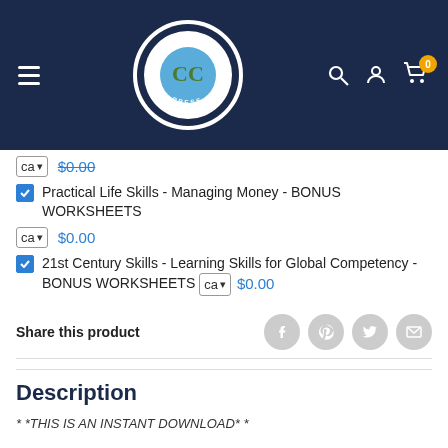[Figure (logo): Classroom Complete Press logo — circular badge with snake wrapped around CC letters on a globe, dark navy background header with hamburger menu, search, account, and cart icons]
ca  $0.00
Practical Life Skills - Managing Money - BONUS WORKSHEETS  ca  $0.00
21st Century Skills - Learning Skills for Global Competency - BONUS WORKSHEETS  ca  $0.00
Share this product
Description
* *THIS IS AN INSTANT DOWNLOAD* *